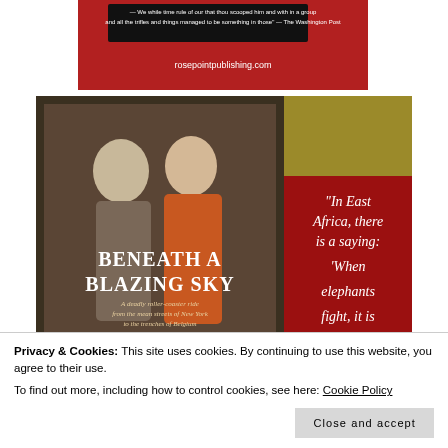[Figure (photo): Top portion of a book cover with red background, showing partial text and rosepointpublishing.com URL]
[Figure (photo): Book cover for 'Beneath a Blazing Sky' by Amanda. Shows two women in 1920s dress, one in orange floral. Red panel on right with white italic text: 'In East Africa, there is a saying: When elephants fight, it is']
Privacy & Cookies: This site uses cookies. By continuing to use this website, you agree to their use.
To find out more, including how to control cookies, see here: Cookie Policy
[Figure (photo): Bottom strip showing partial image of another book]
Close and accept